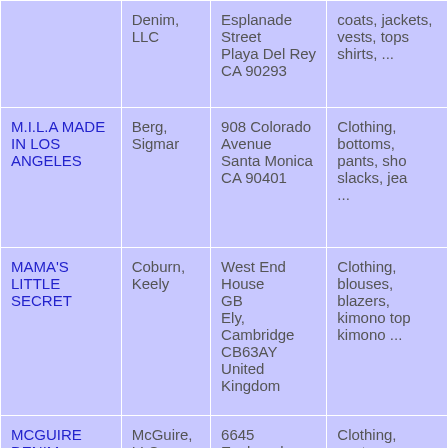|  | Denim, LLC | Esplanade Street
Playa Del Rey
CA 90293 | coats, jackets, vests, tops shirts, ... |
| M.I.L.A MADE IN LOS ANGELES | Berg, Sigmar | 908 Colorado Avenue
Santa Monica
CA 90401 | Clothing, bottoms, pants, sho slacks, jea ... |
| MAMA'S LITTLE SECRET | Coburn, Keely | West End House
GB
Ely, Cambridge
CB63AY
United Kingdom | Clothing, blouses, blazers, kimono top kimono ... |
| MCGUIRE DENIM | McGuire, LLC | 6645 Esplanade Street | Clothing, coats, jackets, |